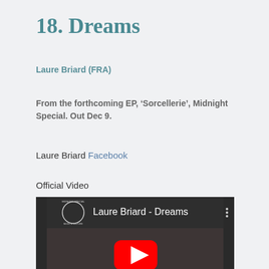18. Dreams
Laure Briard (FRA)
From the forthcoming EP, ‘Sorcellerie’, Midnight Special. Out Dec 9.
Laure Briard Facebook
Official Video
[Figure (screenshot): YouTube video player showing 'Laure Briard - Dreams' with a YouTube play button in the center on a dark video thumbnail. The video player header shows the Midnight Special record label logo on the left and three-dot menu on the right.]